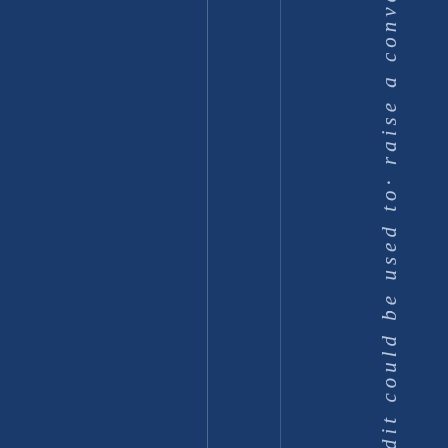dit could be used to· raise a convers